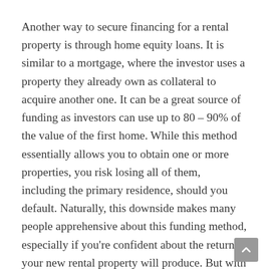Another way to secure financing for a rental property is through home equity loans. It is similar to a mortgage, where the investor uses a property they already own as collateral to acquire another one. It can be a great source of funding as investors can use up to 80 – 90% of the value of the first home. While this method essentially allows you to obtain one or more properties, you risk losing all of them, including the primary residence, should you default. Naturally, this downside makes many people apprehensive about this funding method, especially if you're confident about the returns your new rental property will produce. But with proper long-term planning, you can make it work.
Alternatively, you can also go via the HELOC route. So rather than collecting the funding from your home